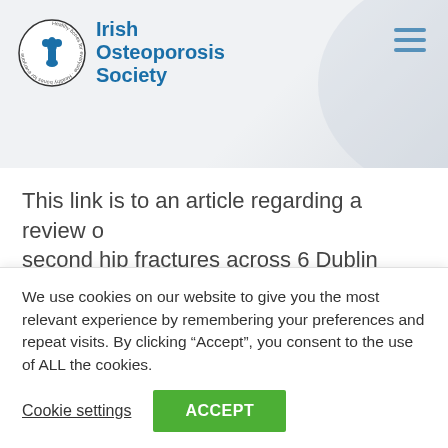[Figure (logo): Irish Osteoporosis Society logo with circular bone/joint icon and text 'Irish Osteoporosis Society']
This link is to an article regarding a review of second hip fractures across 6 Dublin teaching hospital. It shows the importance of optimising bone health and preventing falls.
We use cookies on our website to give you the most relevant experience by remembering your preferences and repeat visits. By clicking “Accept”, you consent to the use of ALL the cookies.
Cookie settings   ACCEPT